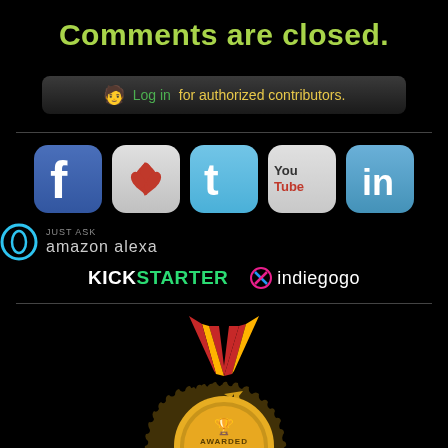Comments are closed.
🧑 Log in for authorized contributors.
[Figure (logo): Row of social media icons: Facebook, leaf/green logo, Twitter, YouTube, LinkedIn]
[Figure (logo): Amazon Alexa logo with circular icon and 'JUST ASK amazon alexa' text]
[Figure (logo): Kickstarter and Indiegogo logos side by side]
[Figure (illustration): Gold medal with red and gold ribbon awarded Top 50 Chemistry Website]